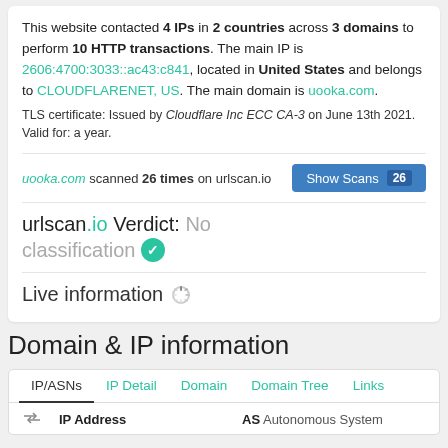This website contacted 4 IPs in 2 countries across 3 domains to perform 10 HTTP transactions. The main IP is 2606:4700:3033::ac43:c841, located in United States and belongs to CLOUDFLARENET, US. The main domain is uooka.com. TLS certificate: Issued by Cloudflare Inc ECC CA-3 on June 13th 2021. Valid for: a year.
uooka.com scanned 26 times on urlscan.io
urlscan.io Verdict: No classification
Live information
Domain & IP information
|  | IP Address | AS Autonomous System |
| --- | --- | --- |